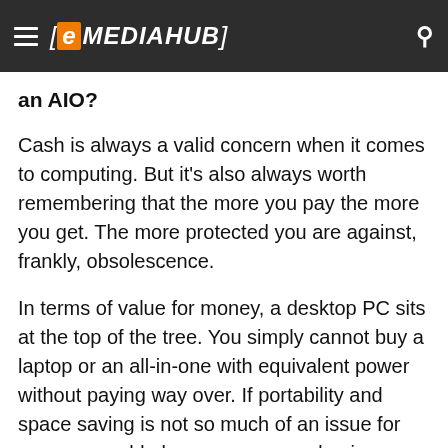e MEDIAHUB
an AIO?
Cash is always a valid concern when it comes to computing. But it's also always worth remembering that the more you pay the more you get. The more protected you are against, frankly, obsolescence.
In terms of value for money, a desktop PC sits at the top of the tree. You simply cannot buy a laptop or an all-in-one with equivalent power without paying way over. If portability and space saving is not so much of an issue for you, we would always recommend going down that route and investing in a desktop PC as a more efficient splash of your cash.
What about mid-range?